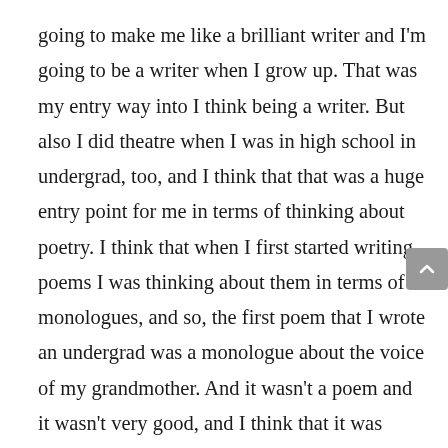going to make me like a brilliant writer and I'm going to be a writer when I grow up. That was my entry way into I think being a writer. But also I did theatre when I was in high school in undergrad, too, and I think that that was a huge entry point for me in terms of thinking about poetry. I think that when I first started writing poems I was thinking about them in terms of monologues, and so, the first poem that I wrote an undergrad was a monologue about the voice of my grandmother. And it wasn't a poem and it wasn't very good, and I think that it was because I was sort of writing it like like it like it would be a part of a scene or something. But, I think that acting is kind of like a writing or reading practice, because not only are you reading a script